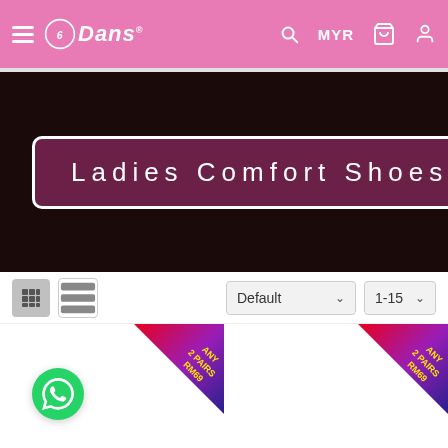Dans — MYR (navigation header with hamburger menu, search, MYR currency selector, cart, and user icons)
[Figure (illustration): Dark hero banner with 'Ladies Comfort Shoes' text in a rounded purple/maroon bordered box on dark background]
Ladies Comfort Shoes
Default sort dropdown, 1-15 per page dropdown, grid/list view toggle buttons
[Figure (photo): Product card 1 with 'ANY 2 PAIRS RM69' promotional badge in top-right corner]
[Figure (photo): Product card 2 with 'ANY 2 PAIRS RM69' promotional badge in top-right corner]
[Figure (logo): Green WhatsApp chat button in bottom-left corner]